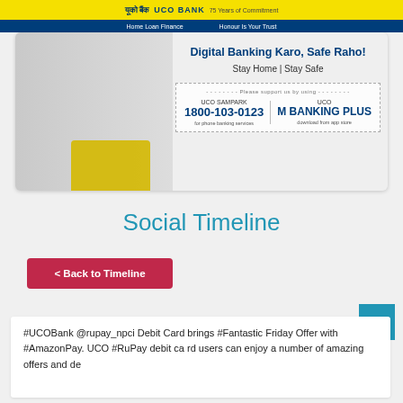UCO Bank - Digital Banking Karo, Safe Raho! Stay Home | Stay Safe
[Figure (screenshot): UCO Bank website banner showing a woman sitting on a sofa using a smartphone and laptop. Text reads: Digital Banking Karo, Safe Raho! Stay Home | Stay Safe. Dashed box with: UCO SAMPARK 1800-103-0123 for phone banking services | UCO M BANKING PLUS download from app store.]
Social Timeline
< Back to Timeline
#UCOBank @rupay_npci Debit Card brings #Fantastic Friday Offer with #AmazonPay. UCO #RuPay debit card users can enjoy a number of amazing offers and de